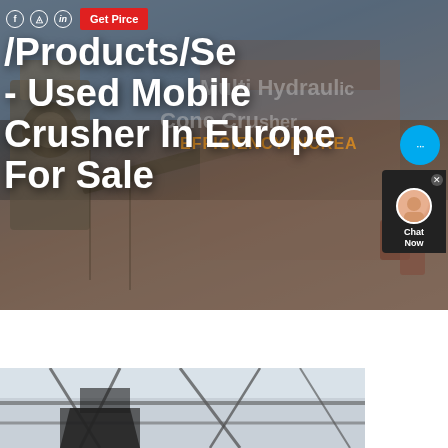[Figure (photo): Hero banner image showing industrial mobile crusher/mining equipment at an outdoor site with machinery, conveyor belts, and blue sky. Overlaid with navigation breadcrumb, social icons, Get Price button, chat widget, and large white title text. Background watermark text reads 'Multi Hydraul... Cone Cr... EFFICIENCY INCREA...']
/Products/Search - Used Mobile Crusher In Europe For Sale
[Figure (photo): Partial bottom image showing interior of industrial facility with metal roof trusses/rafters visible, partially cut off at bottom of page]